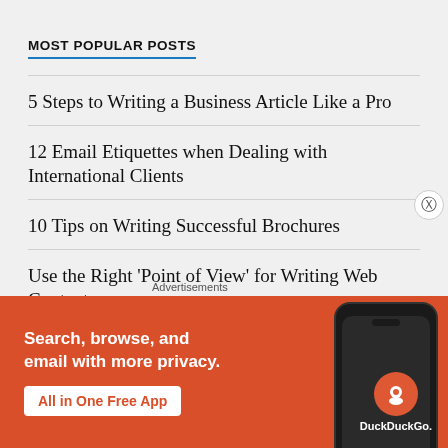MOST POPULAR POSTS
5 Steps to Writing a Business Article Like a Pro
12 Email Etiquettes when Dealing with International Clients
10 Tips on Writing Successful Brochures
Use the Right 'Point of View' for Writing Web Content
· Content Editing Tips for Freelance Writ…
Advertisements
[Figure (infographic): DuckDuckGo advertisement banner with orange background. Text reads: 'Search, browse, and email with more privacy. All in One Free App'. Shows a smartphone with DuckDuckGo logo.]